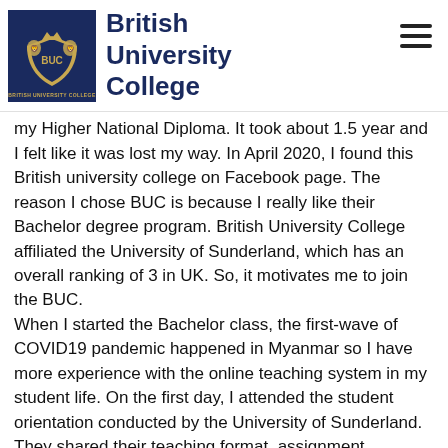British University College
my Higher National Diploma. It took about 1.5 year and I felt like it was lost my way. In April 2020, I found this British university college on Facebook page. The reason I chose BUC is because I really like their Bachelor degree program. British University College affiliated the University of Sunderland, which has an overall ranking of 3 in UK. So, it motivates me to join the BUC. When I started the Bachelor class, the first-wave of COVID19 pandemic happened in Myanmar so I have more experience with the online teaching system in my student life. On the first day, I attended the student orientation conducted by the University of Sunderland. They shared their teaching format, assignment submitting procedures and other required registration related to the student ID that I need to use the library and assignment submission University of Sunderland. During this COVID-19 pandemic condition, British University College supports to be the